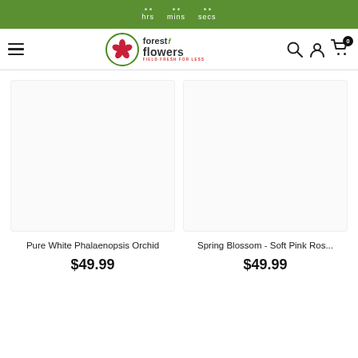hrs  mins  secs  (countdown timer bar)
[Figure (logo): Forest of Flowers logo with green leaf/flower icon in circle and text 'forest of flowers - Field Fresh For Less']
Pure White Phalaenopsis Orchid
$49.99
Spring Blossom - Soft Pink Ros...
$49.99